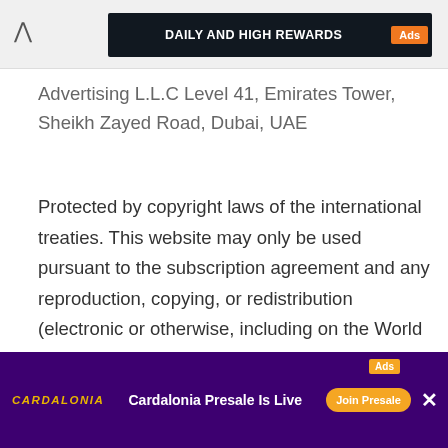[Figure (screenshot): Top UI bar with chevron/up arrow button and dark advertisement banner reading 'DAILY AND HIGH REWARDS' with orange 'Ads' badge]
Advertising L.L.C Level 41, Emirates Tower, Sheikh Zayed Road, Dubai, UAE
Protected by copyright laws of the international treaties. This website may only be used pursuant to the subscription agreement and any reproduction, copying, or redistribution (electronic or otherwise, including on the World Wide Web), in whole or in part, is strictly prohibited without the express written permission of Golden Axis Advertising L.L.C
© 2017-2022 Golden Axis Advertising L.L.C. All rights reserved.
[Figure (screenshot): Bottom advertisement banner for Cardalonia with purple background, orange 'Ads' badge, 'CARDALONIA' logo in gold, 'Cardalonia Presale Is Live' text, 'Join Presale' orange button, and X close button]